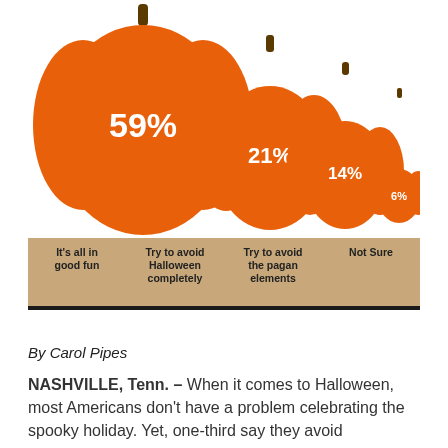[Figure (infographic): Four orange pumpkins of decreasing size, each containing a percentage (59%, 21%, 14%, 6%), with labels below on a tan background: 'It's all in good fun', 'Try to avoid Halloween completely', 'Try to avoid the pagan elements', 'Not Sure'. LifeWay logo and LifeWayResearch.com in black footer bar.]
By Carol Pipes
NASHVILLE, Tenn. – When it comes to Halloween, most Americans don't have a problem celebrating the spooky holiday. Yet, one-third say they avoid Halloween or its pagan elements.
Although 3 in 5 Americans told Lifeway Research